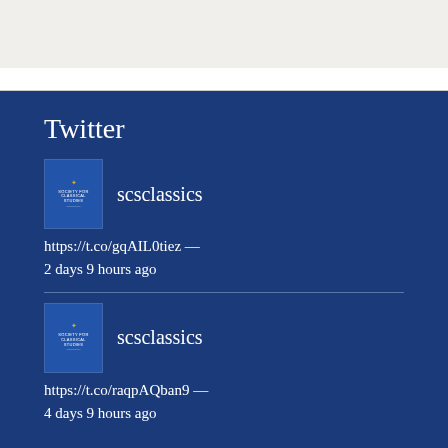Twitter
[Figure (logo): scsclassics avatar - Society for Classical Studies book cover logo]
scsclassics
https://t.co/gqAIL0tiez — 2 days 9 hours ago
[Figure (logo): scsclassics avatar - Society for Classical Studies book cover logo]
scsclassics
https://t.co/raqpAQban9 — 4 days 9 hours ago
Contact Us